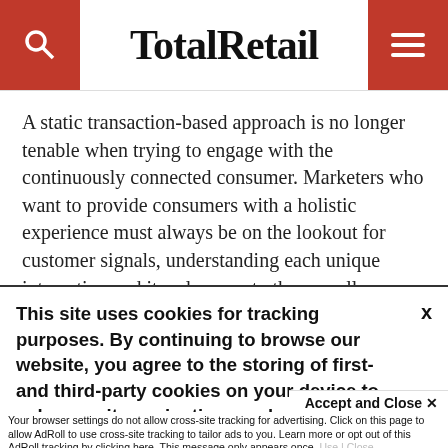TotalRetail
A static transaction-based approach is no longer tenable when trying to engage with the continuously connected consumer. Marketers who want to provide consumers with a holistic experience must always be on the lookout for customer signals, understanding each unique interaction and its relevance to the overall
This site uses cookies for tracking purposes. By continuing to browse our website, you agree to the storing of first- and third-party cookies on your device to enhance site navigation, analyze site
usage, and assist in our marketing and
Accept and Close ✕
Your browser settings do not allow cross-site tracking for advertising. Click on this page to allow AdRoll to use cross-site tracking to tailor ads to you. Learn more or opt out of this AdRoll tracking by clicking here. This message only appears once.